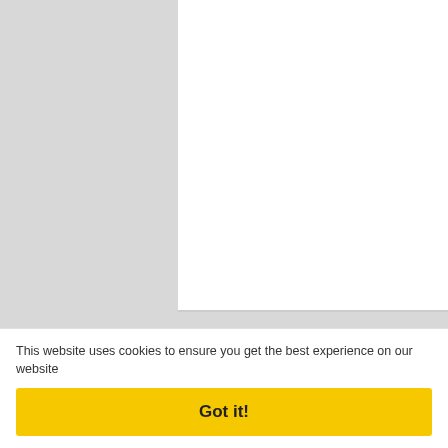[Figure (logo): FlexRadio logo with stylized wave lines in red, white, and blue above bold text 'FlexRadio', on a grey background]
Find Everywhere
TURN YOUR RADIO INTO
This website uses cookies to ensure you get the best experience on our website
Got it!